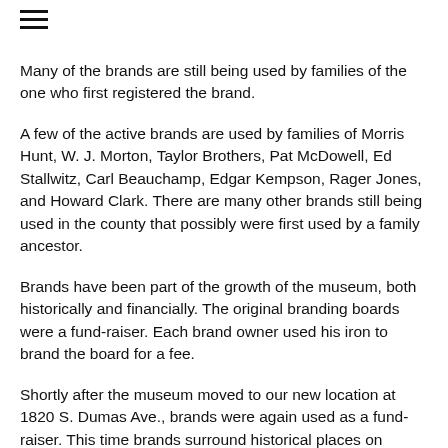Many of the brands are still being used by families of the one who first registered the brand.
A few of the active brands are used by families of Morris Hunt, W. J. Morton, Taylor Brothers, Pat McDowell, Ed Stallwitz, Carl Beauchamp, Edgar Kempson, Rager Jones, and Howard Clark. There are many other brands still being used in the county that possibly were first used by a family ancestor.
Brands have been part of the growth of the museum, both historically and financially. The original branding boards were a fund-raiser. Each brand owner used his iron to brand the board for a fee.
Shortly after the museum moved to our new location at 1820 S. Dumas Ave., brands were again used as a fund-raiser. This time brands surround historical places on woven afghans. Brand owners paid a fee to have their brand on the afghan. The afghans are still